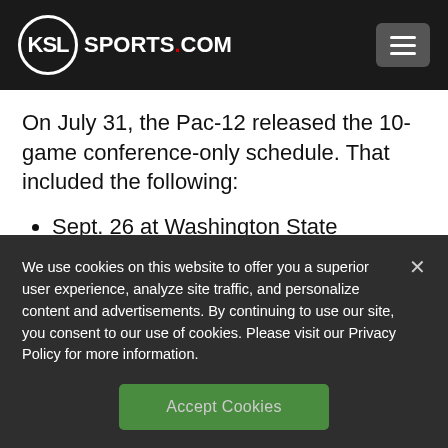KSL SPORTS.COM
On July 31, the Pac-12 released the 10-game conference-only schedule. That included the following:
Sept. 26 at Washington State
Oct. 3 at Colorado
We use cookies on this website to offer you a superior user experience, analyze site traffic, and personalize content and advertisements. By continuing to use our site, you consent to our use of cookies. Please visit our Privacy Policy for more information.
Accept Cookies